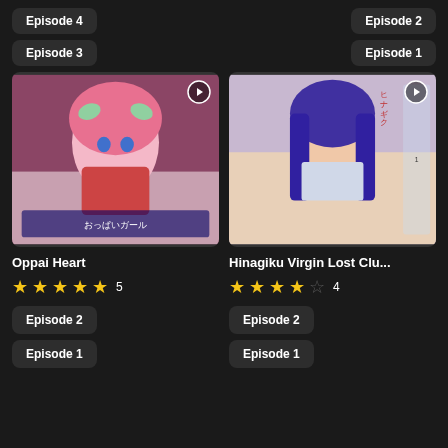Episode 4
Episode 2
Episode 3
Episode 1
[Figure (illustration): Anime cover art for Oppai Heart showing a pink-haired anime girl]
Oppai Heart
★★★★★ 5
Episode 2
Episode 1
[Figure (illustration): Anime cover art for Hinagiku Virgin Lost Club showing a dark-haired anime girl]
Hinagiku Virgin Lost Clu...
★★★★☆ 4
Episode 2
Episode 1